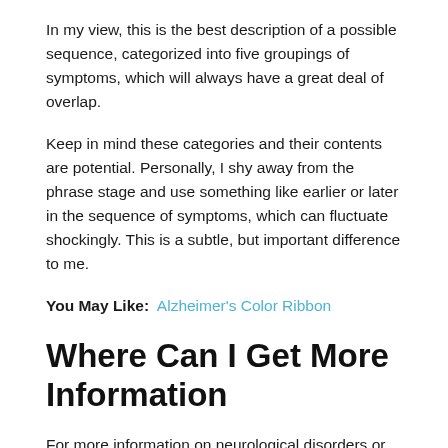In my view, this is the best description of a possible sequence, categorized into five groupings of symptoms, which will always have a great deal of overlap.
Keep in mind these categories and their contents are potential. Personally, I shy away from the phrase stage and use something like earlier or later in the sequence of symptoms, which can fluctuate shockingly. This is a subtle, but important difference to me.
You May Like:  Alzheimer's Color Ribbon
Where Can I Get More Information
For more information on neurological disorders or research programs funded by the National Institute of Neurological